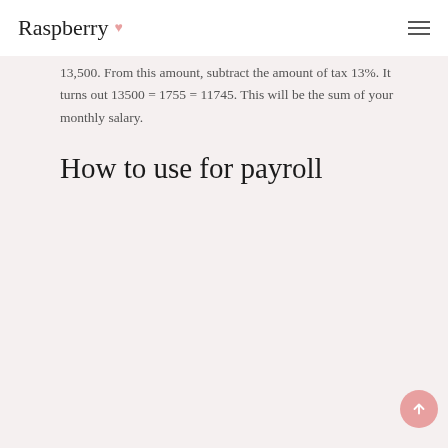Raspberry
13,500. From this amount, subtract the amount of tax 13%. It turns out 13500 = 1755 = 11745. This will be the sum of your monthly salary.
How to use for payroll